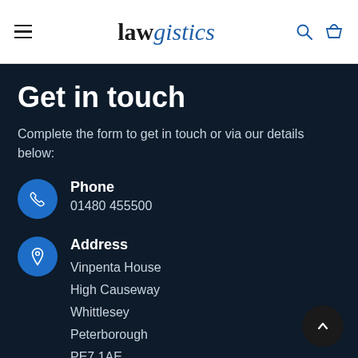lawgistics - navigation header
Get in touch
Complete the form to get in touch or via our details below:
Phone
01480 455500
Address
Vinpenta House
High Causeway
Whittlesey
Peterborough
PE7 1AE